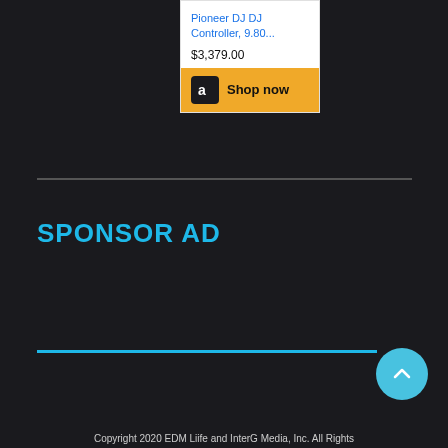[Figure (screenshot): Amazon product ad card showing 'Pioneer DJ DJ Controller, 9.80...' priced at $3,379.00 with a Shop now button featuring the Amazon logo on a gold background]
SPONSOR AD
Copyright 2020 EDM Liife and InterG Media, Inc. All Rights